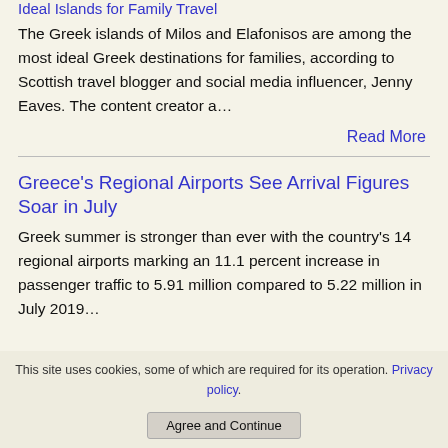Ideal Islands for Family Travel
The Greek islands of Milos and Elafonisos are among the most ideal Greek destinations for families, according to Scottish travel blogger and social media influencer, Jenny Eaves. The content creator a…
Read More
Greece's Regional Airports See Arrival Figures Soar in July
Greek summer is stronger than ever with the country's 14 regional airports marking an 11.1 percent increase in passenger traffic to 5.91 million compared to 5.22 million in July 2019…
This site uses cookies, some of which are required for its operation. Privacy policy
Agree and Continue